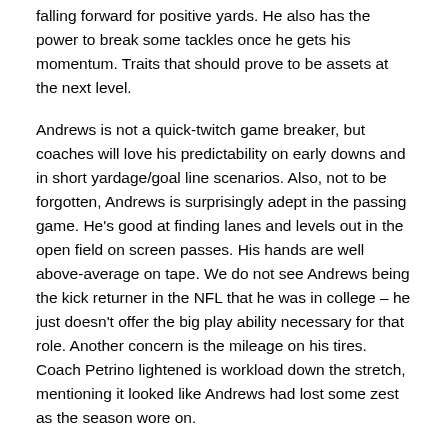falling forward for positive yards. He also has the power to break some tackles once he gets his momentum. Traits that should prove to be assets at the next level.
Andrews is not a quick-twitch game breaker, but coaches will love his predictability on early downs and in short yardage/goal line scenarios. Also, not to be forgotten, Andrews is surprisingly adept in the passing game. He's good at finding lanes and levels out in the open field on screen passes. His hands are well above-average on tape. We do not see Andrews being the kick returner in the NFL that he was in college – he just doesn't offer the big play ability necessary for that role. Another concern is the mileage on his tires. Coach Petrino lightened is workload down the stretch, mentioning it looked like Andrews had lost some zest as the season wore on.
All in all, we see Andrews a solid second-string backup in the NFL. Currently, we can't slate him as a starter or even a 1B in a committee situation. All of that could change very shortly at